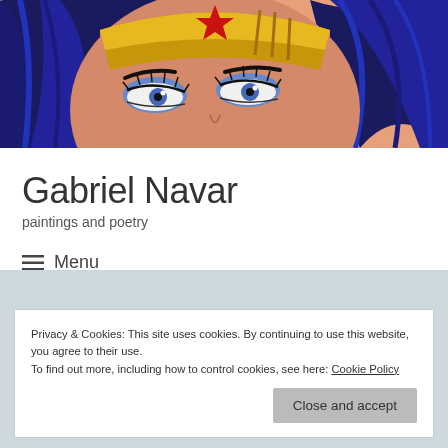[Figure (illustration): Painting of Wonder Woman's face close-up showing her eyes with blue eyeshadow, black hair with blue highlights, red star tiara with gold crown, painted in pop-art style on a peach/salmon background.]
Gabriel Navar
paintings and poetry
≡  Menu
Privacy & Cookies: This site uses cookies. By continuing to use this website, you agree to their use.
To find out more, including how to control cookies, see here: Cookie Policy
Close and accept